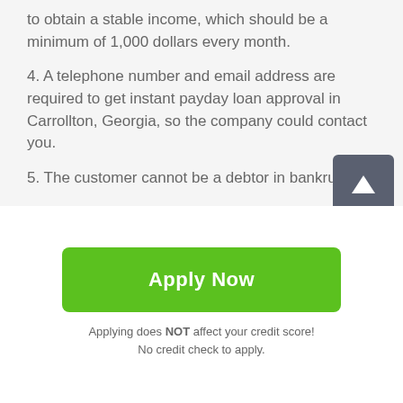to obtain a stable income, which should be a minimum of 1,000 dollars every month.
4. A telephone number and email address are required to get instant payday loan approval in Carrollton, Georgia, so the company could contact you.
5. The customer cannot be a debtor in bankruptcy.
You will also need to provide some of your details, including name, social security number, and the number of payday loans. As soon as the necessary information is submitted, they will contact you to approve the details way, all the terms, and conditions are approved in Carrollton.
[Figure (other): Scroll to top button — dark gray rounded square with white upward arrow]
Apply Now
Applying does NOT affect your credit score!
No credit check to apply.